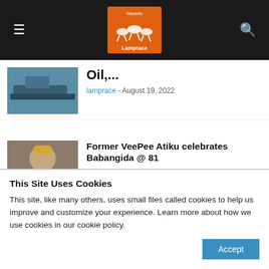Lamprace news website header with navigation
Oil,...
lamprace - August 19, 2022
Former VeePee Atiku celebrates Babangida @ 81
lamprace - August 17, 2022
World Bank warns economy in near fatal-collapse, unsustainable; emergency measures needed
This Site Uses Cookies
This site, like many others, uses small files called cookies to help us improve and customize your experience. Learn more about how we use cookies in our cookie policy.